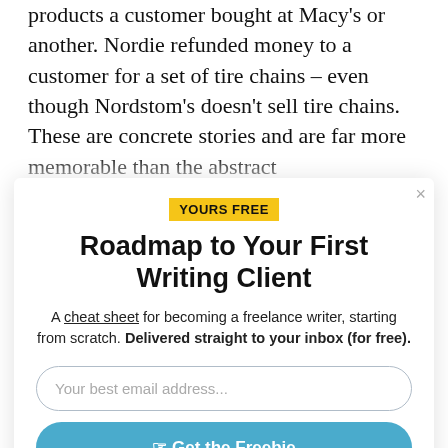products a customer bought at Macy's or another. Nordie refunded money to a customer for a set of tire chains – even though Nordstom's doesn't sell tire chains. These are concrete stories and are far more memorable than the abstract
[Figure (screenshot): Modal popup overlay with close button (×) in top right corner]
YOURS FREE
Roadmap to Your First Writing Client
A cheat sheet for becoming a freelance writer, starting from scratch. Delivered straight to your inbox (for free).
Your best email address...
Get the Freebie